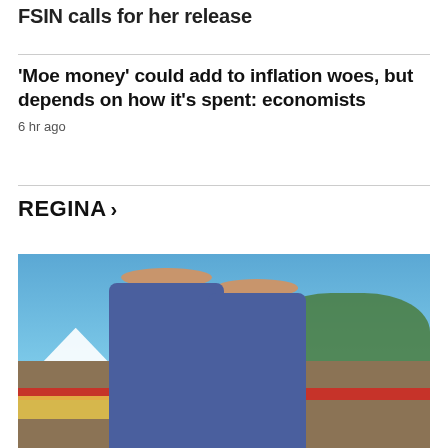FSIN calls for her release
'Moe money' could add to inflation woes, but depends on how it's spent: economists
6 hr ago
REGINA >
[Figure (photo): Two women in blue t-shirts smiling at an outdoor event, with tents, barriers, trees, and other participants visible in the background]